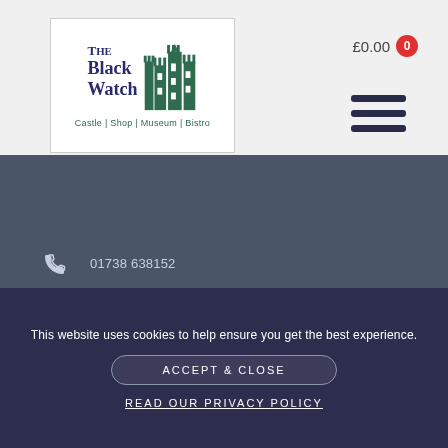[Figure (logo): The Black Watch logo with castle illustration and subtitle 'Castle | Shop | Museum | Bistro']
£0.00  0
[Figure (other): Hamburger menu icon with three horizontal dark navy lines]
01738 638152
enquiries@theblackwatch.co.uk
Balhousie Castle, Hay Street, Perth, PH1 5HR
Terms, Data & Privacy   About the Black Watch   Support the Black Watch
This website uses cookies to help ensure you get the best experience.
ACCEPT & CLOSE
READ OUR PRIVACY POLICY